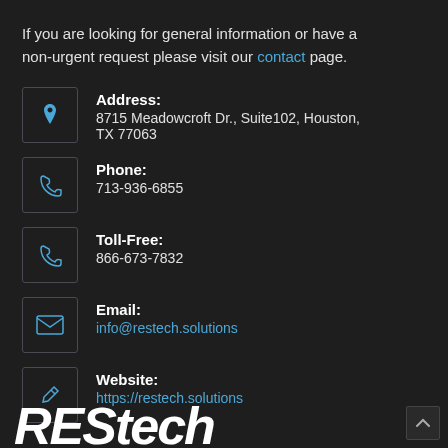If you are looking for general information or have a non-urgent request please visit our contact page.
Address: 8715 Meadowcroft Dr., Suite102, Houston, TX 77063
Phone: 713-936-6855
Toll-Free: 866-673-7832
Email: info@restech.solutions
Website: https://restech.solutions
[Figure (logo): Restech company logo in white italic bold text at bottom of page]